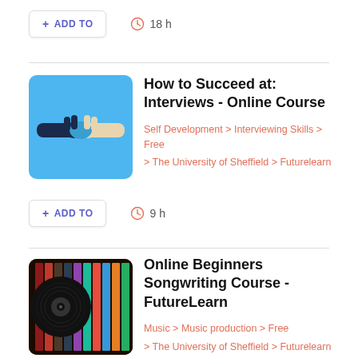+ ADD TO   18 h
How to Succeed at: Interviews - Online Course
Self Development > Interviewing Skills > Free
> The University of Sheffield > Futurelearn
+ ADD TO   9 h
Online Beginners Songwriting Course - FutureLearn
Music > Music production > Free
> The University of Sheffield > Futurelearn